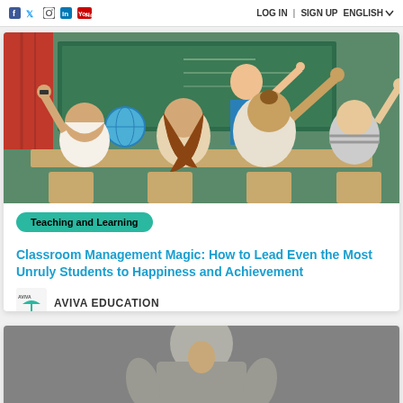f  t  [instagram]  [linkedin]  [youtube]   LOG IN | SIGN UP   ENGLISH
[Figure (photo): Classroom photo showing students raising their hands toward a teacher at a green chalkboard]
Teaching and Learning
Classroom Management Magic: How to Lead Even the Most Unruly Students to Happiness and Achievement
AVIVA EDUCATION
[Figure (photo): Partial photo of a person in a grey shirt, cropped at bottom of page]